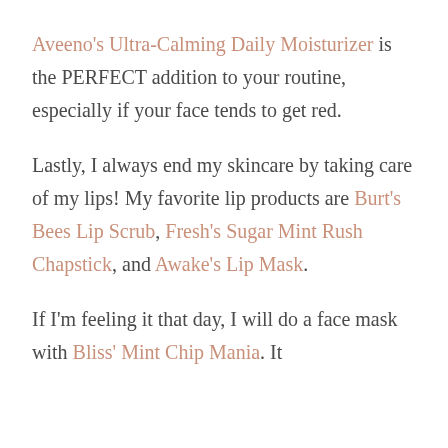Aveeno's Ultra-Calming Daily Moisturizer is the PERFECT addition to your routine, especially if your face tends to get red.
Lastly, I always end my skincare by taking care of my lips! My favorite lip products are Burt's Bees Lip Scrub, Fresh's Sugar Mint Rush Chapstick, and Awake's Lip Mask.
If I'm feeling it that day, I will do a face mask with Bliss' Mint Chip Mania. It